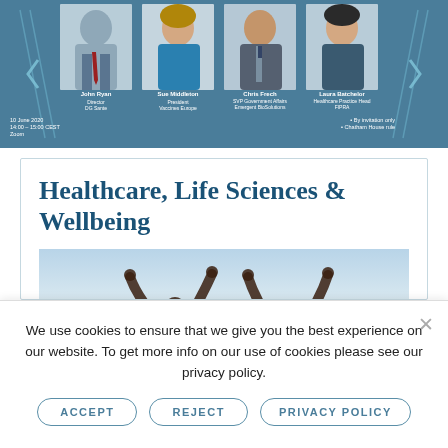[Figure (photo): Healthcare/Life Sciences event banner with speakers: John Ryan (Director, DG Sante), Sue Middleton (President, Vaccines Europe), Chris Frech (SVP Government Affairs, Emergent BioSolutions), Laura Batchelor (Healthcare Practice Head, FIPRA). Event: 10 June 2020, 14:00-15:00 CEST, Zoom. By invitation only, Chatham House rule.]
Healthcare, Life Sciences & Wellbeing
[Figure (photo): Two silhouetted figures with arms raised against a light sky background, representing health and wellbeing.]
We use cookies to ensure that we give you the best experience on our website. To get more info on our use of cookies please see our privacy policy.